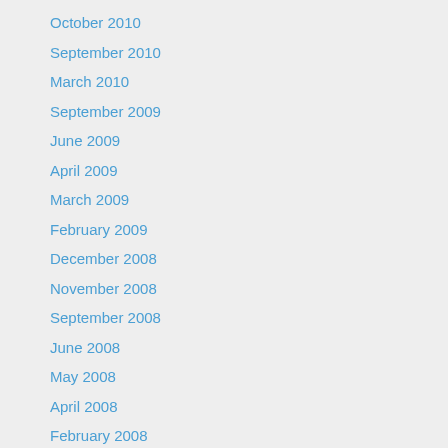October 2010
September 2010
March 2010
September 2009
June 2009
April 2009
March 2009
February 2009
December 2008
November 2008
September 2008
June 2008
May 2008
April 2008
February 2008